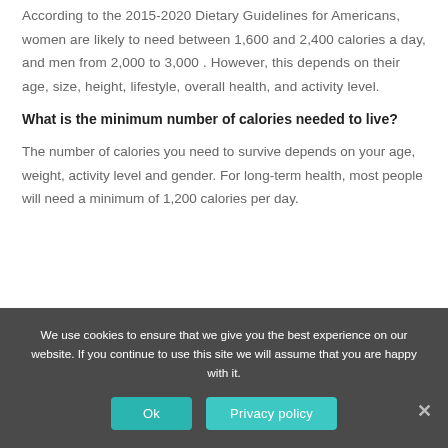According to the 2015-2020 Dietary Guidelines for Americans, women are likely to need between 1,600 and 2,400 calories a day, and men from 2,000 to 3,000 . However, this depends on their age, size, height, lifestyle, overall health, and activity level.
What is the minimum number of calories needed to live?
The number of calories you need to survive depends on your age, weight, activity level and gender. For long-term health, most people will need a minimum of 1,200 calories per day.
We use cookies to ensure that we give you the best experience on our website. If you continue to use this site we will assume that you are happy with it.